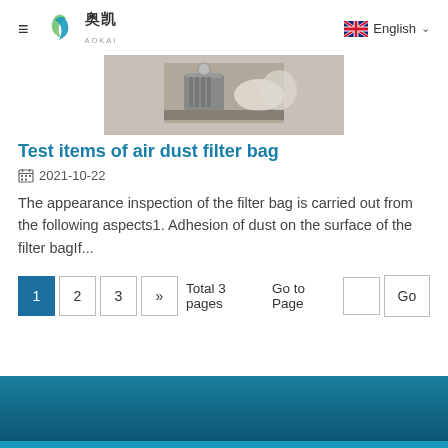≡ 奥凯 AOKAI  English
[Figure (photo): Photo of filter bag testing equipment on a dark surface, showing laboratory apparatus with white filter materials]
Test items of air dust filter bag
2021-10-22
The appearance inspection of the filter bag is carried out from the following aspects1. Adhesion of dust on the surface of the filter bagIf...
1  2  3  »  Total 3 pages  Go to Page  Go